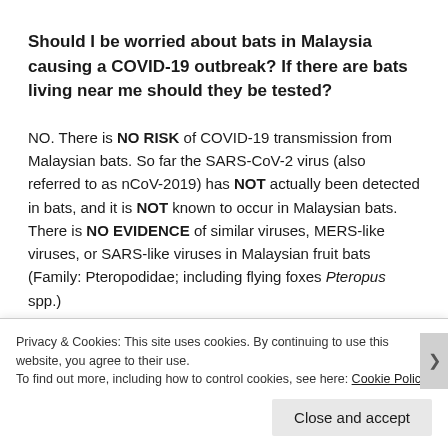Should I be worried about bats in Malaysia causing a COVID-19 outbreak? If there are bats living near me should they be tested?
NO. There is NO RISK of COVID-19 transmission from Malaysian bats. So far the SARS-CoV-2 virus (also referred to as nCoV-2019) has NOT actually been detected in bats, and it is NOT known to occur in Malaysian bats. There is NO EVIDENCE of similar viruses, MERS-like viruses, or SARS-like viruses in Malaysian fruit bats (Family: Pteropodidae; including flying foxes Pteropus spp.)
Privacy & Cookies: This site uses cookies. By continuing to use this website, you agree to their use.
To find out more, including how to control cookies, see here: Cookie Policy
Close and accept